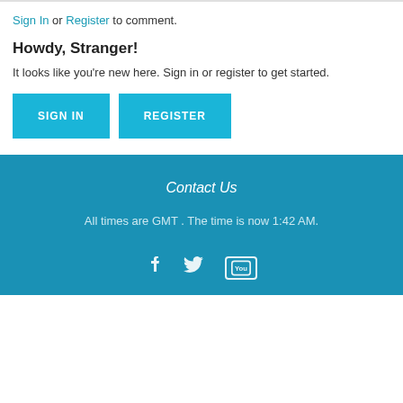Sign In or Register to comment.
Howdy, Stranger!
It looks like you're new here. Sign in or register to get started.
SIGN IN | REGISTER
Contact Us
All times are GMT . The time is now 1:42 AM.